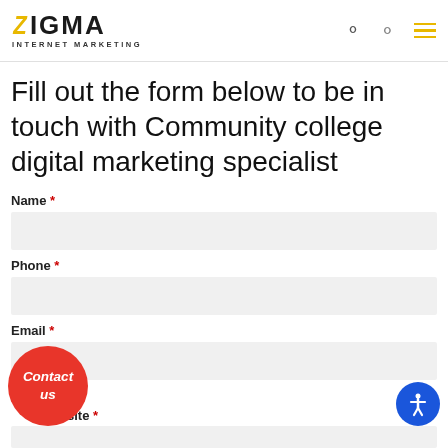ZIGMA INTERNET MARKETING
Fill out the form below to be in touch with Community college digital marketing specialist
Name *
Phone *
Email *
site *